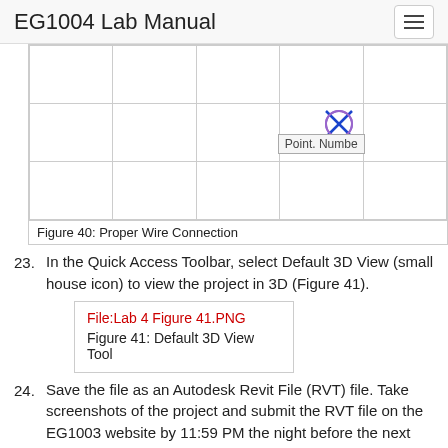EG1004 Lab Manual
[Figure (screenshot): Grid/table screenshot showing a proper wire connection with a crosshair icon and tooltip showing 'Point. Numbe...']
Figure 40: Proper Wire Connection
23. In the Quick Access Toolbar, select Default 3D View (small house icon) to view the project in 3D (Figure 41).
[Figure (screenshot): Placeholder for File:Lab 4 Figure 41.PNG]
Figure 41: Default 3D View Tool
24. Save the file as an Autodesk Revit File (RVT) file. Take screenshots of the project and submit the RVT file on the EG1003 website by 11:59 PM the night before the next lab.
25. To receive extra credit, make a 3D rendering and walkthrough video of your apartment design. Use Google,